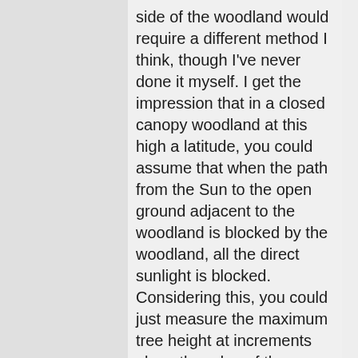side of the woodland would require a different method I think, though I've never done it myself. I get the impression that in a closed canopy woodland at this high a latitude, you could assume that when the path from the Sun to the open ground adjacent to the woodland is blocked by the woodland, all the direct sunlight is blocked. Considering this, you could just measure the maximum tree height at increments along the edge of the woodland using a clinometer or a laser range finder, measure the orientation of the woodland edge, then use that to model how long the shadow is at different times of the year and how many hours during the day a given distance from the woodland is shaded as the angle of the Sun changes. This has some